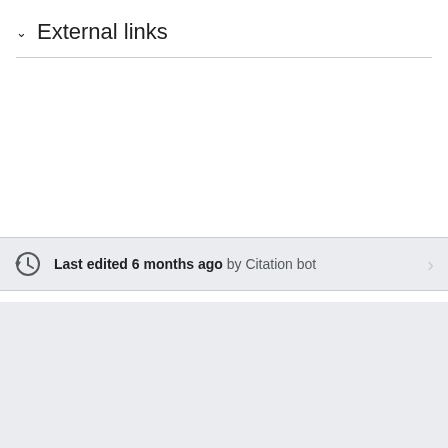External links
Last edited 6 months ago by Citation bot